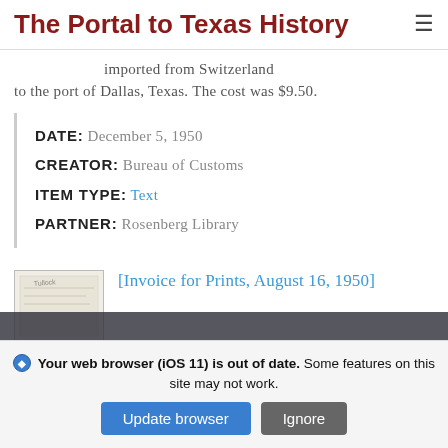The Portal to Texas History
imported from Switzerland to the port of Dallas, Texas. The cost was $9.50.
DATE: December 5, 1950
CREATOR: Bureau of Customs
ITEM TYPE: Text
PARTNER: Rosenberg Library
[Figure (photo): Thumbnail image of an invoice document with handwritten signature]
[Invoice for Prints, August 16, 1950]
Your web browser (iOS 11) is out of date. Some features on this site may not work.